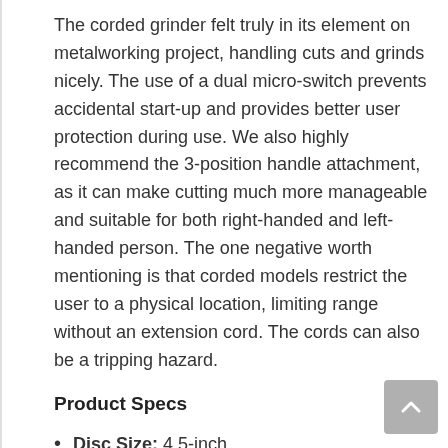The corded grinder felt truly in its element on metalworking project, handling cuts and grinds nicely. The use of a dual micro-switch prevents accidental start-up and provides better user protection during use. We also highly recommend the 3-position handle attachment, as it can make cutting much more manageable and suitable for both right-handed and left-handed person. The one negative worth mentioning is that corded models restrict the user to a physical location, limiting range without an extension cord. The cords can also be a tripping hazard.
Product Specs
Disc Size: 4.5-inch
RPMs: 10,000
Power Source: Corded